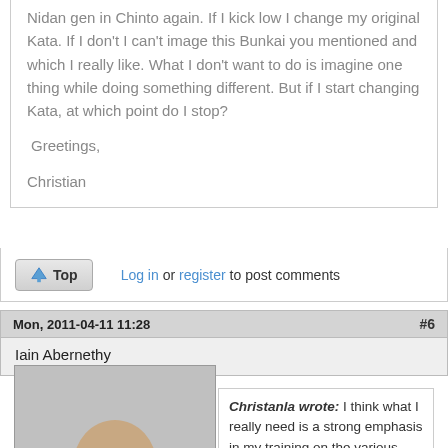Nidan gen in Chinto again. If I kick low I change my original Kata. If I don't I can't image this Bunkai you mentioned and which I really like. What I don't want to do is imagine one thing while doing something different. But if I start changing Kata, at which point do I stop?
Greetings,
Christian
Log in or register to post comments
Mon, 2011-04-11 11:28   #6
Iain Abernethy
[Figure (photo): Profile photo of Iain Abernethy, a bald man with a beard wearing a white martial arts gi, smiling at the camera]
Christanla wrote: I think what I really need is a strong emphasis in my training on the various